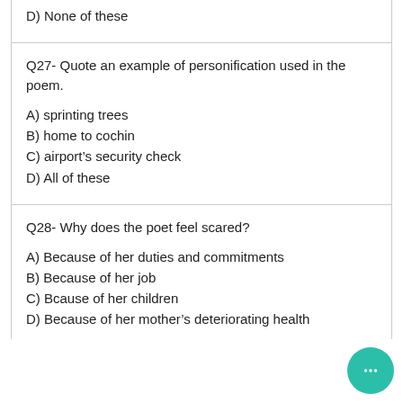D) None of these
Q27- Quote an example of personification used in the poem.
A) sprinting trees
B) home to cochin
C) airport's security check
D) All of these
Q28- Why does the poet feel scared?
A) Because of her duties and commitments
B) Because of her job
C) Bcause of her children
D) Because of her mother's deteriorating health